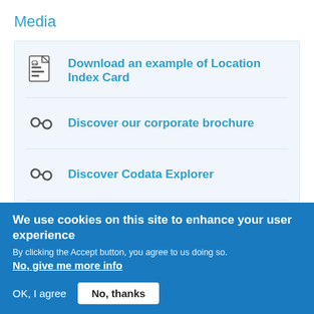Media
Download an example of Location Index Card
Discover our corporate brochure
Discover Codata Explorer
Discover Codata Files
We use cookies on this site to enhance your user experience
By clicking the Accept button, you agree to us doing so.
No, give me more info
OK, I agree    No, thanks